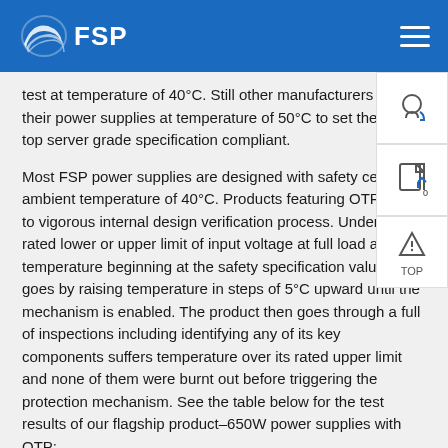FSP
test at temperature of 40°C. Still other manufacturers test their power supplies at temperature of 50°C to set them the top server grade specification compliant.
Most FSP power supplies are designed with safety certification at ambient temperature of 40°C. Products featuring OTP are subject to vigorous internal design verification process. Under conditions rated lower or upper limit of input voltage at full load and ambient temperature beginning at the safety specification value, the test goes by raising temperature in steps of 5°C upward until the mechanism is enabled. The product then goes through a full of inspections including identifying any of its key components suffers temperature over its rated upper limit and none of them were burnt out before triggering the protection mechanism. See the table below for the test results of our flagship product–650W power supplies with OTP:
AC input: 90Vac/264Vac
Frequency: 47Hz/63Hz